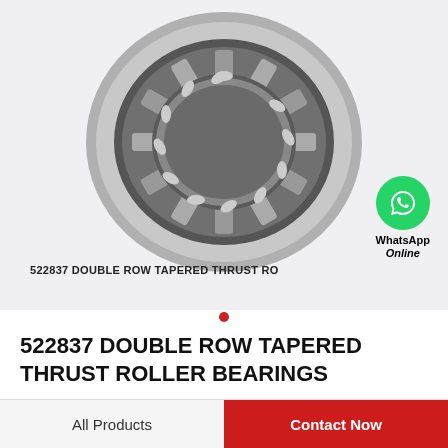[Figure (photo): Photo of a 522837 double row tapered thrust roller bearing, viewed from the front, circular shape with tapered roller elements visible, silver/grey metallic finish, on a light grey background. Caption text reads '522837 DOUBLE ROW TAPERED THRUST RO' (truncated). A WhatsApp icon with 'WhatsApp Online' label is overlaid on the bottom-right of the image.]
522837 DOUBLE ROW TAPERED THRUST ROLLER BEARINGS
All Products
Contact Now